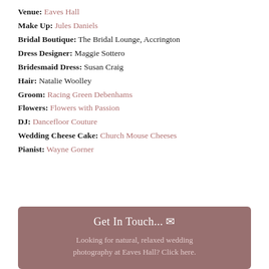Venue: Eaves Hall
Make Up: Jules Daniels
Bridal Boutique: The Bridal Lounge, Accrington
Dress Designer: Maggie Sottero
Bridesmaid Dress: Susan Craig
Hair: Natalie Woolley
Groom: Racing Green Debenhams
Flowers: Flowers with Passion
DJ: Dancefloor Couture
Wedding Cheese Cake: Church Mouse Cheeses
Pianist: Wayne Gorner
Get In Touch... ✉ Looking for natural, relaxed wedding photography at Eaves Hall? Click here.